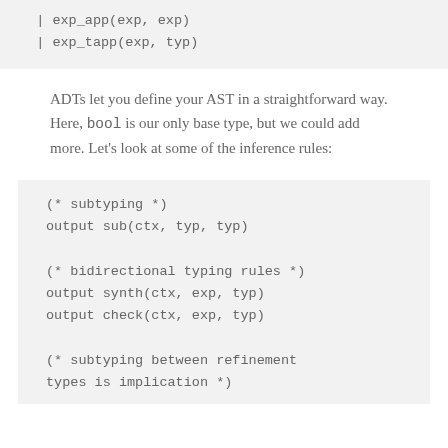| exp_app(exp, exp)
| exp_tapp(exp, typ)
ADTs let you define your AST in a straightforward way. Here, bool is our only base type, but we could add more. Let's look at some of the inference rules:
(* subtyping *)
output sub(ctx, typ, typ)

(* bidirectional typing rules *)
output synth(ctx, exp, typ)
output check(ctx, exp, typ)

(* subtyping between refinement types is implication *)